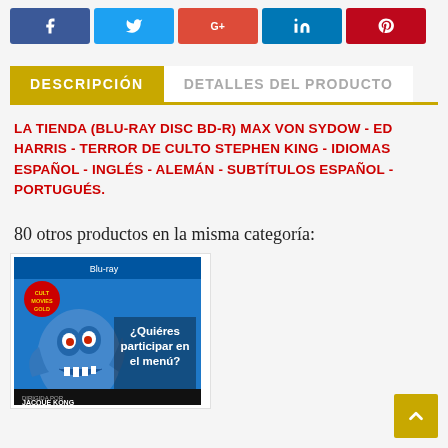[Figure (other): Social media share buttons: Facebook (blue), Twitter (light blue), Google+ (red), LinkedIn (teal), Pinterest (dark red)]
DESCRIPCIÓN
DETALLES DEL PRODUCTO
LA TIENDA (BLU-RAY DISC BD-R) MAX VON SYDOW - ED HARRIS - TERROR DE CULTO STEPHEN KING - IDIOMAS ESPAÑOL - INGLÉS - ALEMÁN - SUBTÍTULOS ESPAÑOL - PORTUGUÉS.
80 otros productos en la misma categoría:
[Figure (photo): Blu-ray disc cover for horror movie featuring a monster with text '¿Quiéres participar en el menú?']